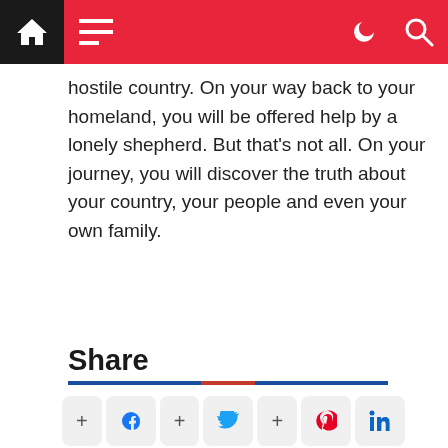Navigation bar with home, menu, dark mode, and search icons
hostile country. On your way back to your homeland, you will be offered help by a lonely shepherd. But that's not all. On your journey, you will discover the truth about your country, your people and even your own family.
Share
[Figure (infographic): Social share buttons for Facebook, Twitter, Pinterest, and LinkedIn with plus signs between them]
[Figure (other): Advertisement placeholder box with diagonal hatch pattern border and white inner area, with a scroll-to-top circular button]